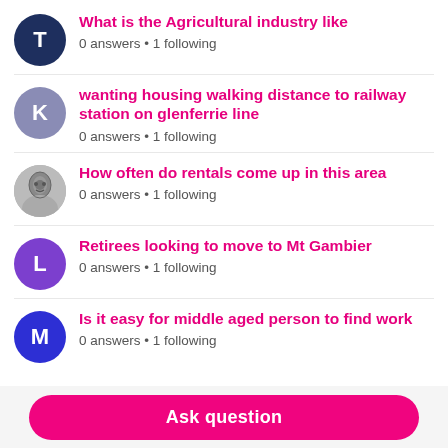What is the Agricultural industry like
0 answers • 1 following
wanting housing walking distance to railway station on glenferrie line
0 answers • 1 following
How often do rentals come up in this area
0 answers • 1 following
Retirees looking to move to Mt Gambier
0 answers • 1 following
Is it easy for middle aged person to find work
0 answers • 1 following
Ask question